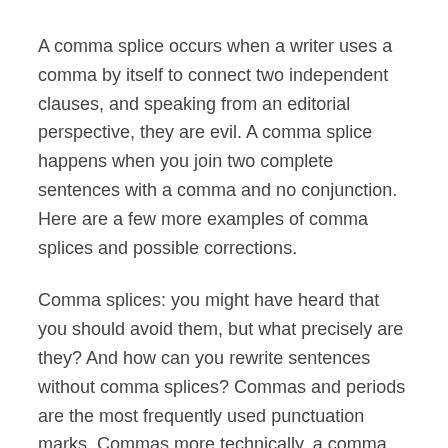A comma splice occurs when a writer uses a comma by itself to connect two independent clauses, and speaking from an editorial perspective, they are evil. A comma splice happens when you join two complete sentences with a comma and no conjunction. Here are a few more examples of comma splices and possible corrections.
Comma splices: you might have heard that you should avoid them, but what precisely are they? And how can you rewrite sentences without comma splices? Commas and periods are the most frequently used punctuation marks. Commas more technically, a comma splice Look at the following sentence: Example: My
What is a Comma Splice? A comma splice is a poor attempt to join two independent clauses in a sentence with just a comma.